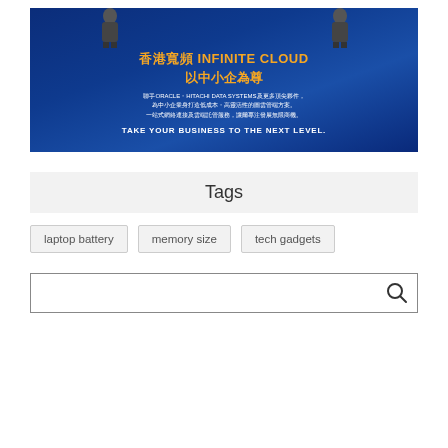[Figure (illustration): Advertisement banner for 香港寬頻 INFINITE CLOUD service targeting small and medium enterprises, with dark navy blue background, orange Chinese text '香港寬頻 INFINITE CLOUD 以中小企為尊', white descriptive Chinese text mentioning ORACLE, HITACHI DATA SYSTEMS, and English tagline 'TAKE YOUR BUSINESS TO THE NEXT LEVEL.']
Tags
laptop battery
memory size
tech gadgets